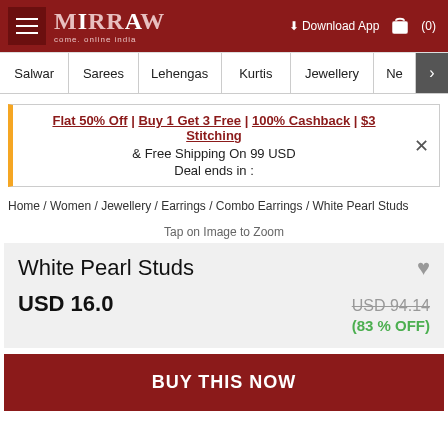[Figure (logo): Mirraw logo with hamburger menu, download app link, and cart icon in dark red header]
Salwar | Sarees | Lehengas | Kurtis | Jewellery | Ne >
Flat 50% Off | Buy 1 Get 3 Free | 100% Cashback | $3 Stitching & Free Shipping On 99 USD Deal ends in :
Home / Women / Jewellery / Earrings / Combo Earrings / White Pearl Studs
Tap on Image to Zoom
White Pearl Studs
USD 16.0
USD 94.14 (83 % OFF)
BUY THIS NOW